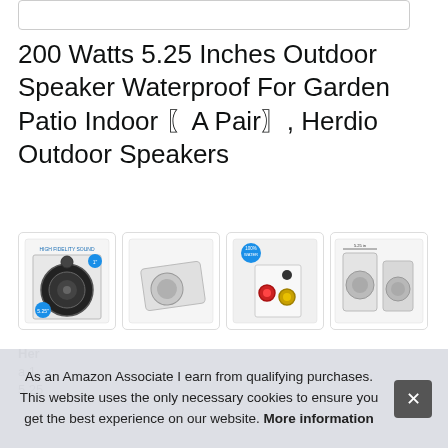[Figure (screenshot): Top portion of a webpage showing a rounded rectangle border element at top]
200 Watts 5.25 Inches Outdoor Speaker Waterproof For Garden Patio Indoor 〖A Pair〗, Herdio Outdoor Speakers
[Figure (photo): Four thumbnail images of an outdoor speaker product: front view showing speaker cone with HIGH FIDELITY SOUND label, side angle view, rear connection panel with red/black terminals, and pair of speakers with size measurements]
Herdio... a 1.... 5.25...
As an Amazon Associate I earn from qualifying purchases. This website uses the only necessary cookies to ensure you get the best experience on our website. More information